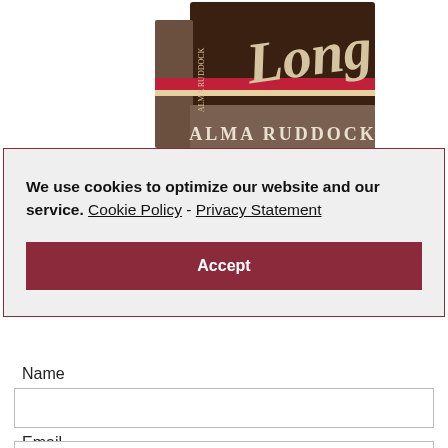[Figure (photo): Book cover showing 'Long' by Alma Ruddock, a dark brown hardcover book with red accent stripe and decorative script title]
We use cookies to optimize our website and our service.  Cookie Policy - Privacy Statement
Accept
Name
Email